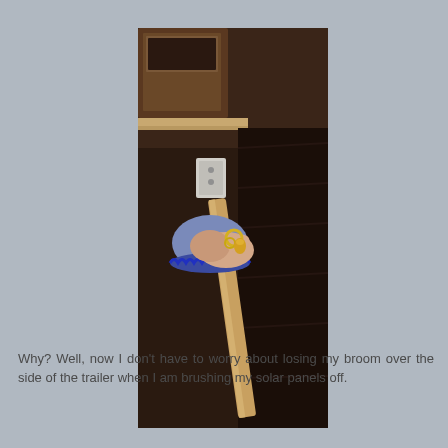[Figure (photo): A person's hand wearing a blue-trimmed sleeve holding a broom handle with a key ring attached to it. The background shows a dark wood floor and a countertop area with an outlet visible.]
Why? Well, now I don't have to worry about losing my broom over the side of the trailer when I am brushing my solar panels off.